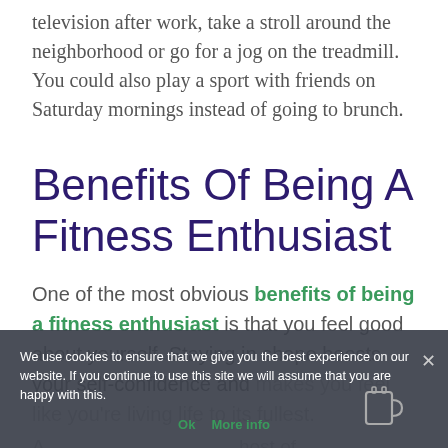television after work, take a stroll around the neighborhood or go for a jog on the treadmill. You could also play a sport with friends on Saturday mornings instead of going to brunch.
Benefits Of Being A Fitness Enthusiast
One of the most obvious benefits of being a fitness enthusiast is that you feel good about yourself. Staying in shape boosts your self-confidence and makes you feel like you're living life to its fullest.
A host of h...our d...our immune system, and helps you maintain a healthy (partially obscured by cookie banner)
We use cookies to ensure that we give you the best experience on our website. If you continue to use this site we will assume that you are happy with this.